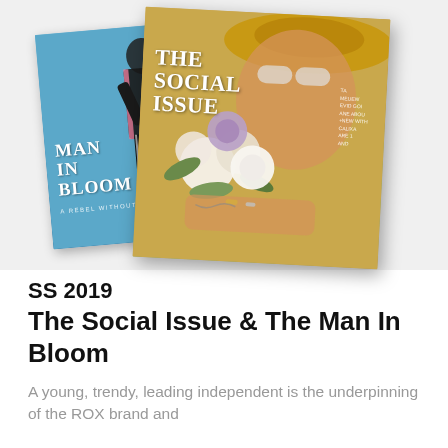[Figure (photo): Two overlapping magazine covers: left cover shows 'MAN IN BLOOM - A REBEL WITHOUT A CAUSE' on a blue background with a person in black athletic wear; right cover shows 'THE SOCIAL ISSUE' on a golden/yellow background with a woman holding flowers and wearing a wide-brim hat.]
SS 2019
The Social Issue & The Man In Bloom
A young, trendy, leading independent is the underpinning of the ROX brand and